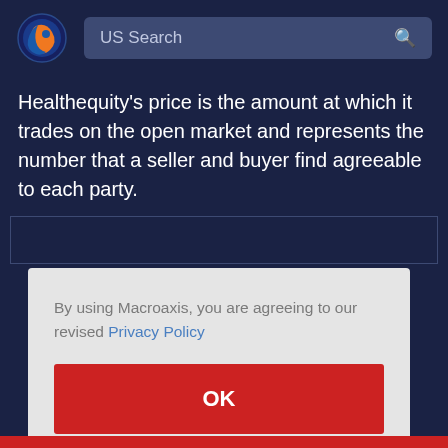[Figure (logo): Macroaxis logo — circular icon with orange and blue globe design]
US Search
Healthequity's price is the amount at which it trades on the open market and represents the number that a seller and buyer find agreeable to each party.
By using Macroaxis, you are agreeing to our revised Privacy Policy
OK